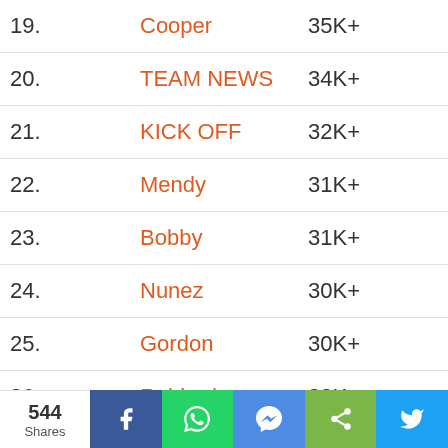| # | Name | Count |
| --- | --- | --- |
| 19. | Cooper | 35K+ |
| 20. | TEAM NEWS | 34K+ |
| 21. | KICK OFF | 32K+ |
| 22. | Mendy | 31K+ |
| 23. | Bobby | 31K+ |
| 24. | Nunez | 30K+ |
| 25. | Gordon | 30K+ |
| 26. | Robbed | 30K+ |
| 27. | HALF TIME | 30K+ |
| 28. | … | 30K+ |
544 Shares